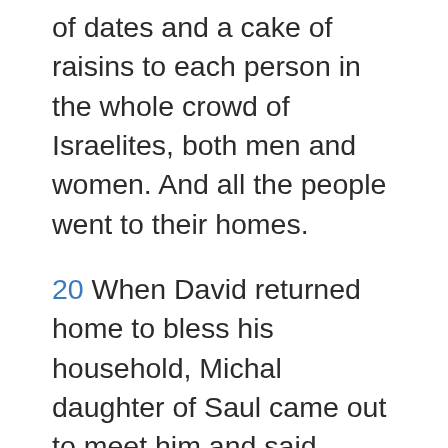of dates and a cake of raisins to each person in the whole crowd of Israelites, both men and women. And all the people went to their homes.
20 When David returned home to bless his household, Michal daughter of Saul came out to meet him and said, “How the king of Israel has distinguished himself today, going around half-naked in full view of the slave girls of his servants as any vulgar fellow would!”
21 David said to Michal, “It was before the LORD, who chose me rather than your father or anyone from his house